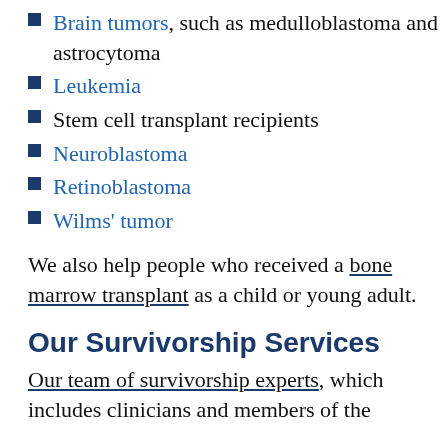Brain tumors, such as medulloblastoma and astrocytoma
Leukemia
Stem cell transplant recipients
Neuroblastoma
Retinoblastoma
Wilms' tumor
We also help people who received a bone marrow transplant as a child or young adult.
Our Survivorship Services
Our team of survivorship experts, which includes clinicians and members of the